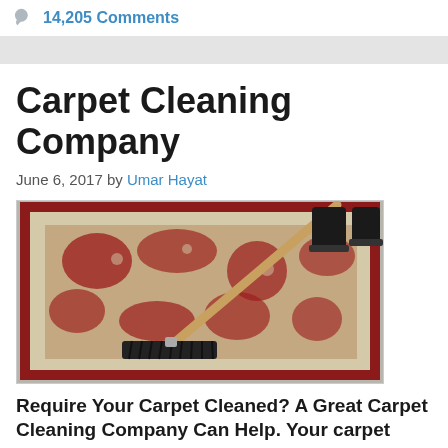14,205 Comments
Carpet Cleaning Company
June 6, 2017 by Umar Hayat
[Figure (photo): A person using a large black-bristled broom or brush to clean a red and beige ornate patterned carpet/rug. The person is wearing black boots and holding a wooden handle mop/brush.]
Require Your Carpet Cleaned? A Great Carpet Cleaning Company Can Help. Your carpet...